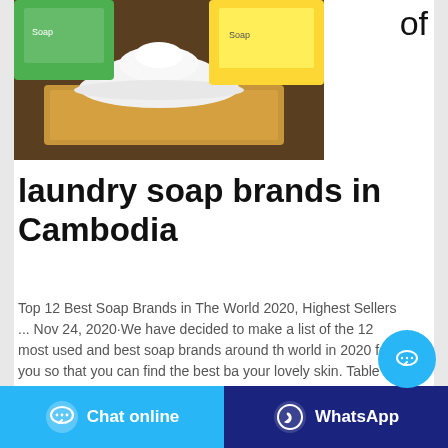of
[Figure (photo): Photo of white laundry soap powder/granules in a wooden tray with green and yellow soap packaging in the background]
laundry soap brands in Cambodia
Top 12 Best Soap Brands in The World 2020, Highest Sellers ... Nov 24, 2020·We have decided to make a list of the 12 most used and best soap brands around the world in 2020 for you so that you can find the best bar for your lovely skin. Table of Contents. 12. Tom's of Maine Natural Daily Moisture Beauty Bar- ...
[Figure (other): Floating chat bubble button (light blue circle with ellipsis icon)]
Chat online   WhatsApp